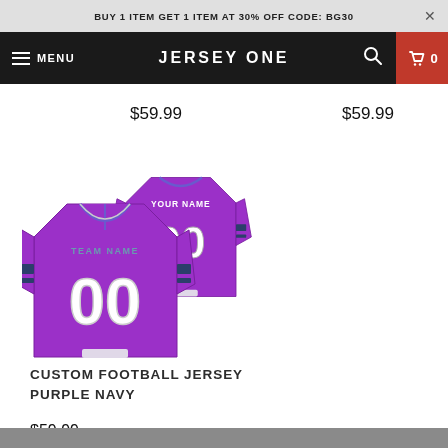BUY 1 ITEM GET 1 ITEM AT 30% OFF CODE: BG30
JERSEY ONE
$59.99
$59.99
[Figure (photo): Custom football jersey in purple and navy, shown from front and back, with number 00 and placeholder text YOUR NAME / TEAM NAME]
CUSTOM FOOTBALL JERSEY PURPLE NAVY
$59.99